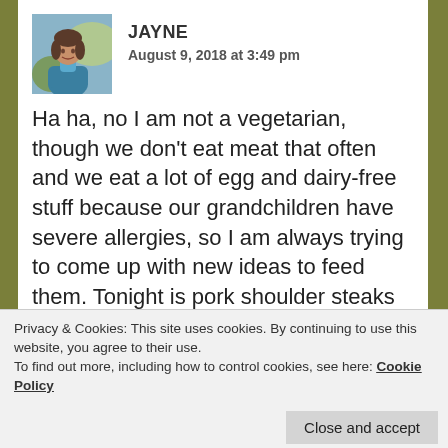[Figure (photo): Avatar photo of Jayne, a person wearing a blue/teal jacket outdoors]
JAYNE
August 9, 2018 at 3:49 pm
Ha ha, no I am not a vegetarian, though we don't eat meat that often and we eat a lot of egg and dairy-free stuff because our grandchildren have severe allergies, so I am always trying to come up with new ideas to feed them. Tonight is pork shoulder steaks in blackberry & cassis sauce, using the blackberries we picked while out walking this morning. Could do with a bit of your cherry soaking liquor, but I will have to make do with a drop of cassis from our local garden centre. In fact, your entire stash sounds most
Privacy & Cookies: This site uses cookies. By continuing to use this website, you agree to their use.
To find out more, including how to control cookies, see here: Cookie Policy
Close and accept